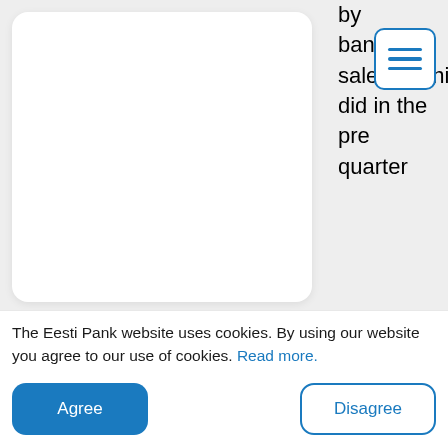by bankcard sale in ni did in the pre quarter
[Figure (screenshot): Hamburger/menu icon with three horizontal lines, blue border, white background]
[Figure (screenshot): Blue banner/section header area with darker blue inner box]
The Eesti Pank website uses cookies. By using our website you agree to our use of cookies. Read more.
Agree
Disagree